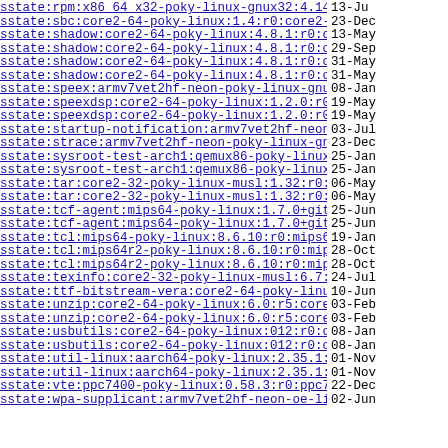sstate:rpm:x86_64_x32-poky-linux-gnux32:4.14.2...>   13-Ju
sstate:sbc:core2-64-poky-linux:1.4:r0:core2-64:..>  23-Dec
sstate:shadow:core2-64-poky-linux:4.8.1:r0:core..>  13-May
sstate:shadow:core2-64-poky-linux:4.8.1:r0:core..>  29-Sep
sstate:shadow:core2-64-poky-linux:4.8.1:r0:core..>  31-May
sstate:shadow:core2-64-poky-linux:4.8.1:r0:core..>  31-May
sstate:speex:armv7vet2hf-neon-poky-linux-gnueab..>  08-Jan
sstate:speexdsp:core2-64-poky-linux:1.2.0:r0:co..>  19-May
sstate:speexdsp:core2-64-poky-linux:1.2.0:r0:co..>  19-May
sstate:startup-notification:armv7vet2hf-neon-oe..>  03-Jul
sstate:strace:armv7vet2hf-neon-poky-linux-gnuea..>  23-Dec
sstate:sysroot-test-arch1:qemux86-poky-linux:1...>  25-Jan
sstate:sysroot-test-arch1:qemux86-poky-linux:1...>  25-Jan
sstate:tar:core2-32-poky-linux-musl:1.32:r0:cor..>  06-May
sstate:tar:core2-32-poky-linux-musl:1.32:r0:cor..>  06-May
sstate:tcf-agent:mips64-poky-linux:1.7.0+gitAUT..>  25-Jun
sstate:tcf-agent:mips64-poky-linux:1.7.0+gitAUT..>  25-Jun
sstate:tcl:mips64-poky-linux:8.6.10:r0:mips64:3..>  19-Jan
sstate:tcl:mips64r2-poky-linux:8.6.10:r0:mips64..>  28-Oct
sstate:tcl:mips64r2-poky-linux:8.6.10:r0:mips64..>  28-Oct
sstate:texinfo:core2-32-poky-linux-musl:6.7:r0:..>  24-Jul
sstate:ttf-bitstream-vera:core2-64-poky-linux:1..>  10-Jun
sstate:unzip:core2-64-poky-linux:6.0:r5:core2-6..>  03-Feb
sstate:unzip:core2-64-poky-linux:6.0:r5:core2-6..>  03-Feb
sstate:usbutils:core2-64-poky-linux:012:r0:core..>  08-Jan
sstate:usbutils:core2-64-poky-linux:012:r0:core..>  08-Jan
sstate:util-linux:aarch64-poky-linux:2.35.1:r0:..>  01-Nov
sstate:util-linux:aarch64-poky-linux:2.35.1:r0:..>  01-Nov
sstate:vte:ppc7400-poky-linux:0.58.3:r0:ppc7400..>  22-Dec
sstate:wpa-supplicant:armv7vet2hf-neon-oe-linux.  02-Jun